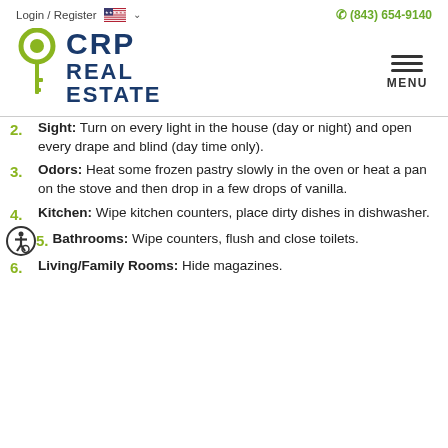Login / Register   (843) 654-9140
[Figure (logo): CRP Real Estate logo with green key icon and dark blue text]
2. Sight: Turn on every light in the house (day or night) and open every drape and blind (day time only).
3. Odors: Heat some frozen pastry slowly in the oven or heat a pan on the stove and then drop in a few drops of vanilla.
4. Kitchen: Wipe kitchen counters, place dirty dishes in dishwasher.
5. Bathrooms: Wipe counters, flush and close toilets.
6. Living/Family Rooms: Hide magazines.